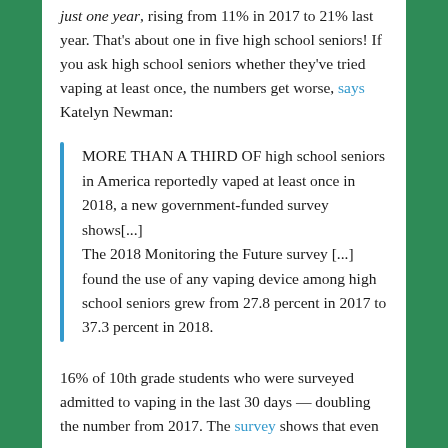just one year, rising from 11% in 2017 to 21% last year. That's about one in five high school seniors! If you ask high school seniors whether they've tried vaping at least once, the numbers get worse, says Katelyn Newman:
MORE THAN A THIRD OF high school seniors in America reportedly vaped at least once in 2018, a new government-funded survey shows[...] The 2018 Monitoring the Future survey [...] found the use of any vaping device among high school seniors grew from 27.8 percent in 2017 to 37.3 percent in 2018.
16% of 10th grade students who were surveyed admitted to vaping in the last 30 days — doubling the number from 2017. The survey shows that even